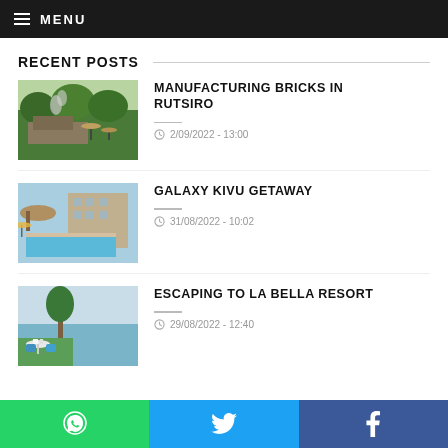MENU
RECENT POSTS
[Figure (photo): Brick manufacturing site with smoke and green trees in Rutsiro]
MANUFACTURING BRICKS IN RUTSIRO
2/09/2022 - 13:00
[Figure (photo): Galaxy Kivu hotel with swimming pool and building]
GALAXY KIVU GETAWAY
31/08/2022 - 10:02
[Figure (photo): La Bella Resort lakeside outdoor dining area with blue chairs]
ESCAPING TO LA BELLA RESORT
29/08/2022 - 12:40
WhatsApp | Twitter | Facebook